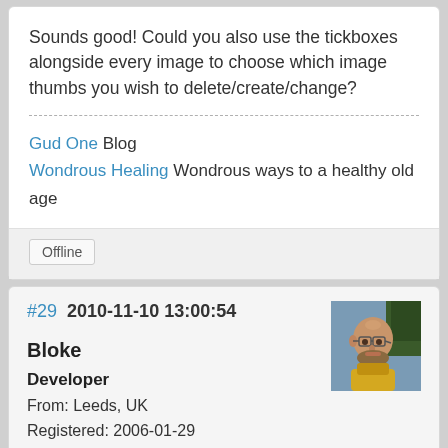Sounds good! Could you also use the tickboxes alongside every image to choose which image thumbs you wish to delete/create/change?
Gud One Blog
Wondrous Healing Wondrous ways to a healthy old age
Offline
#29  2010-11-10 13:00:54
[Figure (photo): Avatar photo of user Bloke, showing a bald man with glasses and a beard outdoors]
Bloke
Developer
From: Leeds, UK
Registered: 2006-01-29